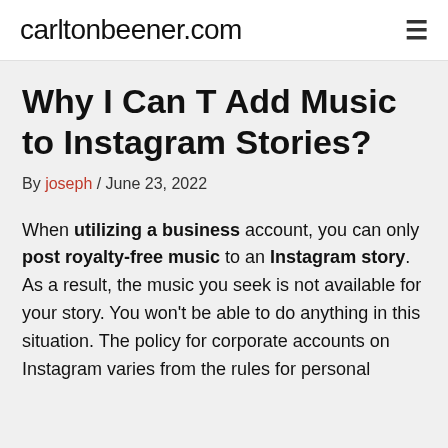carltonbeener.com
Why I Can T Add Music to Instagram Stories?
By joseph / June 23, 2022
When utilizing a business account, you can only post royalty-free music to an Instagram story. As a result, the music you seek is not available for your story. You won't be able to do anything in this situation. The policy for corporate accounts on Instagram varies from the rules for personal